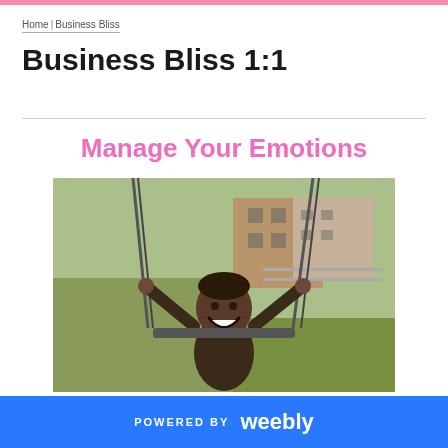Home | Business Bliss
Business Bliss 1:1
Manage Your Emotions
[Figure (photo): A smiling Black woman on a playground swing, holding chains, with brick buildings and greenery in the background.]
POWERED BY weebly